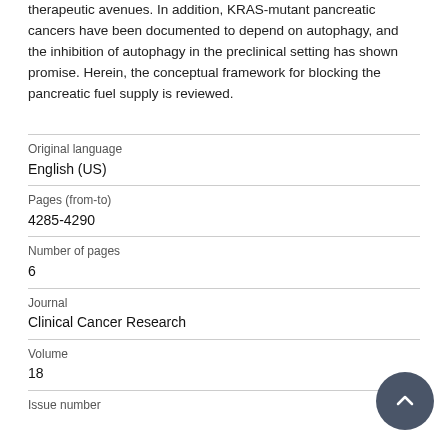therapeutic avenues. In addition, KRAS-mutant pancreatic cancers have been documented to depend on autophagy, and the inhibition of autophagy in the preclinical setting has shown promise. Herein, the conceptual framework for blocking the pancreatic fuel supply is reviewed.
| Original language | English (US) |
| Pages (from-to) | 4285-4290 |
| Number of pages | 6 |
| Journal | Clinical Cancer Research |
| Volume | 18 |
| Issue number |  |